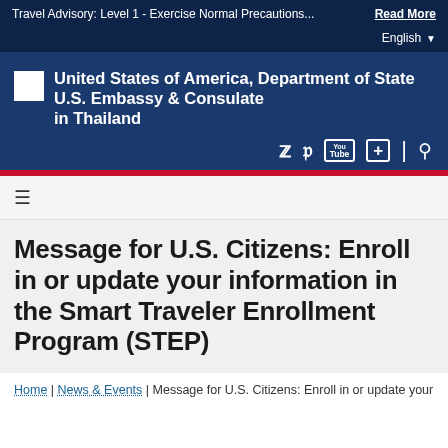Travel Advisory: Level 1 - Exercise Normal Precautions... Read More
English
[Figure (logo): United States of America, Department of State seal/flag icon with text: U.S. Embassy & Consulate in Thailand]
[Figure (infographic): Social media icons: Twitter, Facebook, YouTube, Google Plus, Search]
Message for U.S. Citizens: Enroll in or update your information in the Smart Traveler Enrollment Program (STEP)
Home | News & Events | Message for U.S. Citizens: Enroll in or update your